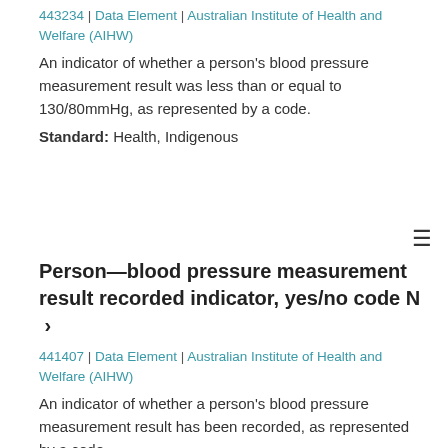443234 | Data Element | Australian Institute of Health and Welfare (AIHW)
An indicator of whether a person's blood pressure measurement result was less than or equal to 130/80mmHg, as represented by a code.
Standard: Health, Indigenous
Person—blood pressure measurement result recorded indicator, yes/no code N ›
441407 | Data Element | Australian Institute of Health and Welfare (AIHW)
An indicator of whether a person's blood pressure measurement result has been recorded, as represented by a code.
Standard: Health, Indigenous